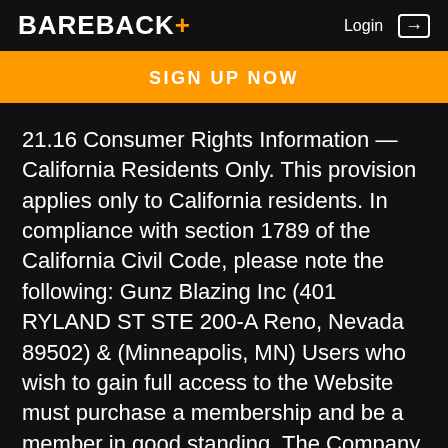BAREBACK+    Login →
SIGN UP NOW
21.16 Consumer Rights Information — California Residents Only. This provision applies only to California residents. In compliance with section 1789 of the California Civil Code, please note the following: Gunz Blazing Inc (401 RYLAND ST STE 200-A Reno, Nevada 89502) & (Minneapolis, MN) Users who wish to gain full access to the Website must purchase a membership and be a member in good standing. The Company posts the current membership fees for the Website on the signup page. The Company